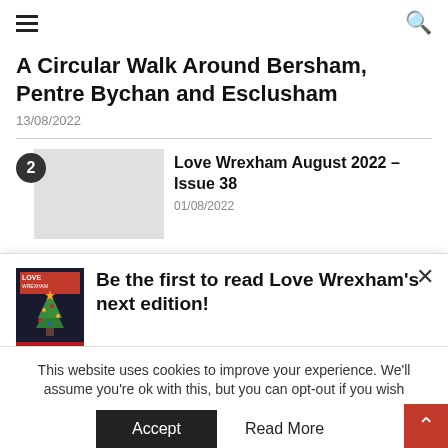Navigation header with hamburger menu and search icon
A Circular Walk Around Bersham, Pentre Bychan and Esclusham
13/08/2022
2 Love Wrexham August 2022 – Issue 38
01/08/2022
[Figure (other): Popup newsletter signup banner with Love Wrexham magazine cover and text: Be the first to read Love Wrexham's next edition! Sign up here and we'll email you when it's online]
Sign up here and we'll email you when it's online
This website uses cookies to improve your experience. We'll assume you're ok with this, but you can opt-out if you wish
Accept   Read More